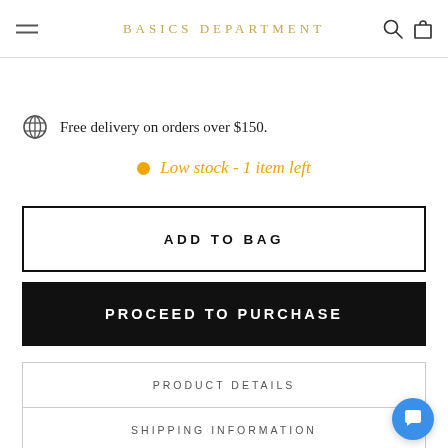BASICS DEPARTMENT
Free delivery on orders over $150.
Low stock - 1 item left
ADD TO BAG
PROCEED TO PURCHASE
PRODUCT DETAILS
SHIPPING INFORMATION